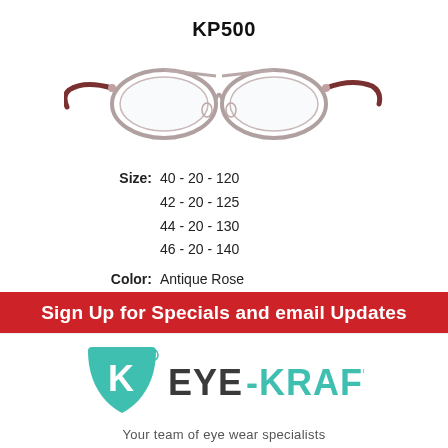KP500
[Figure (photo): Photo of KP500 eyeglasses frames with metal construction and red/brown temple tips, shown from a slightly elevated front angle.]
Size: 40 - 20 - 120
42 - 20 - 125
44 - 20 - 130
46 - 20 - 140
Color: Antique Rose
Beige Rose
Sign Up for Specials and email Updates
[Figure (logo): Eye-Kraft logo with teal shield/K symbol and text EYE-KRAFT with tagline 'Your team of eye wear specialists']